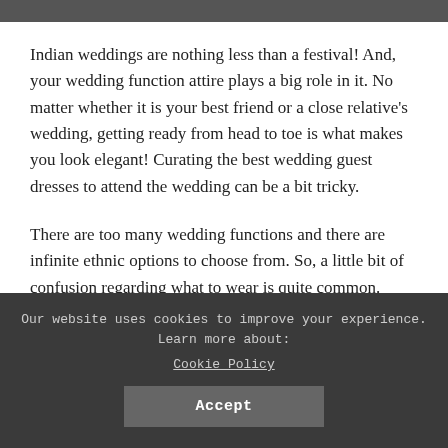[Figure (photo): Partial image strip at the top of the page, appears to show a wedding photo cropped to a dark strip.]
Indian weddings are nothing less than a festival! And, your wedding function attire plays a big role in it. No matter whether it is your best friend or a close relative's wedding, getting ready from head to toe is what makes you look elegant! Curating the best wedding guest dresses to attend the wedding can be a bit tricky.
There are too many wedding functions and there are infinite ethnic options to choose from. So, a little bit of confusion regarding what to wear is quite common. Nonetheless, put an end to your worries now as we have made your tasks easier.
Our website uses cookies to improve your experience. Learn more about: Cookie Policy
Accept